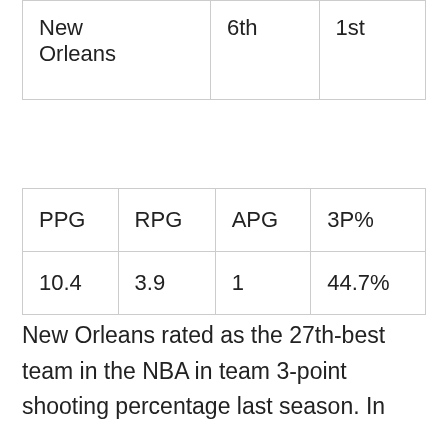| New
Orleans | 6th | 1st |
| PPG | RPG | APG | 3P% |
| --- | --- | --- | --- |
| 10.4 | 3.9 | 1 | 44.7% |
New Orleans rated as the 27th-best team in the NBA in team 3-point shooting percentage last season. In